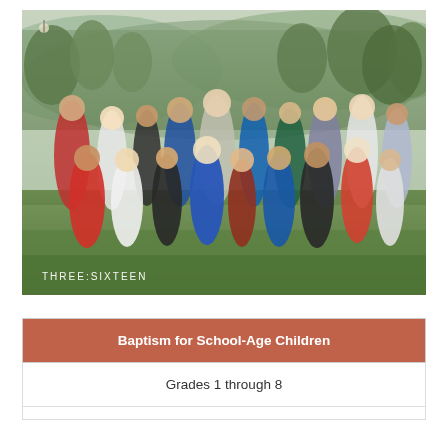[Figure (photo): Group photo of school-age children posing energetically outdoors on grass with trees in background. Text overlay reads 'THREE:SIXTEEN' in white letters at bottom left.]
| Baptism for School-Age Children |
| --- |
| Grades 1 through 8 |
|  |